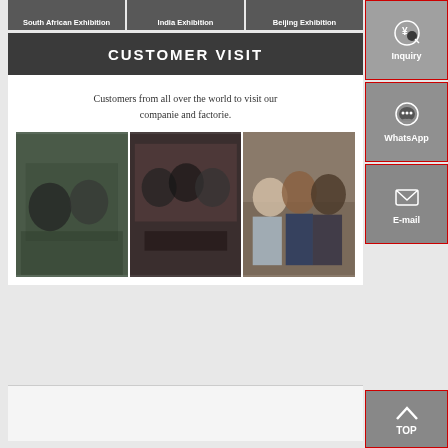[Figure (photo): Three exhibition label strips: South African Exhibition, India Exhibition, Beijing Exhibition]
CUSTOMER VISIT
Customers from all over the world to visit our companie and factorie.
[Figure (photo): Three customer visit photos: two people at airport/station, group dining, three people standing outdoors]
[Figure (infographic): Sidebar with Inquiry, WhatsApp, E-mail contact buttons and TOP scroll button]